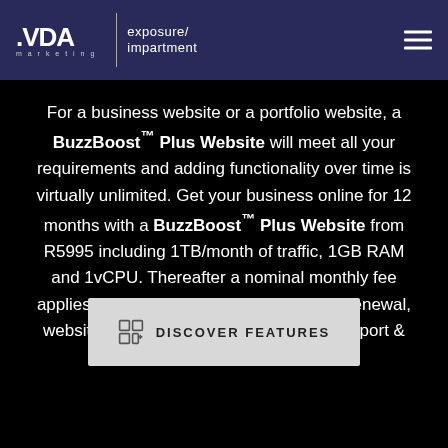[Figure (logo): VDA Marketing logo with 'exposure/impartment' text and navigation hamburger menu on dark blue header]
For a business website or a portfolio website, a BuzzBoost™ Plus Website will meet all your requirements and adding functionality over time is virtually unlimited. Get your business online for 12 months with a BuzzBoost™ Plus Website from R5995 including 1TB/month of traffic, 1GB RAM and 1vCPU. Thereafter a nominal monthly fee applies (TBD) for annual .CO.ZA domain renewal, website & e-mail hosting, and website support & updates.
DISCOVER FEATURES